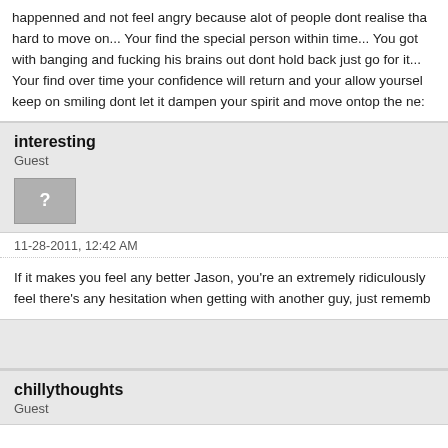happenned and not feel angry because alot of people dont realise that hard to move on... Your find the special person within time... You got with banging and fucking his brains out dont hold back just go for it... Your find over time your confidence will return and your allow yoursel keep on smiling dont let it dampen your spirit and move ontop the ne
interesting
Guest
[Figure (other): Avatar placeholder with question mark icon]
11-28-2011, 12:42 AM
If it makes you feel any better Jason, you're an extremely ridiculously feel there's any hesitation when getting with another guy, just rememb
chillythoughts
Guest